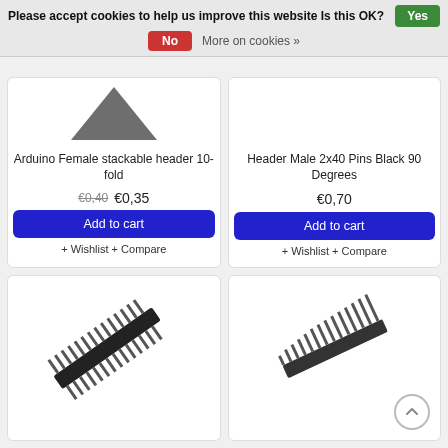Please accept cookies to help us improve this website Is this OK? Yes
No  More on cookies »
Arduino Female stackable header 10-fold
€0,40  €0,35
Add to cart
+ Wishlist + Compare
Header Male 2x40 Pins Black 90 Degrees
€0,70
Add to cart
+ Wishlist + Compare
[Figure (photo): Pin header component - long strip of pins]
[Figure (photo): Pin header component - right angle strip]